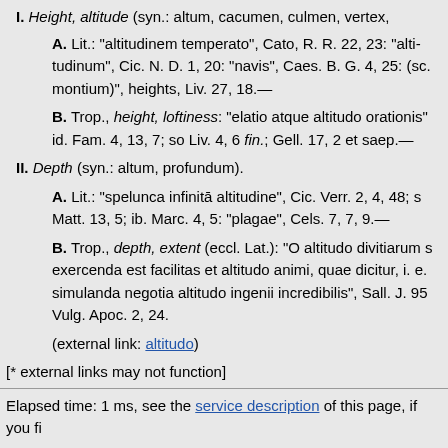I. Height, altitude (syn.: altum, cacumen, culmen, vertex,
A. Lit.: "altitudinem temperato", Cato, R. R. 22, 23: "altitudinum", Cic. N. D. 1, 20: "navis", Caes. B. G. 4, 25: (sc. montium)", heights, Liv. 27, 18.—
B. Trop., height, loftiness: "elatio atque altitudo orationis" id. Fam. 4, 13, 7; so Liv. 4, 6 fin.; Gell. 17, 2 et saep.—
II. Depth (syn.: altum, profundum).
A. Lit.: "spelunca infinitā altitudine", Cic. Verr. 2, 4, 48; s Matt. 13, 5; ib. Marc. 4, 5: "plagae", Cels. 7, 7, 9.—
B. Trop., depth, extent (eccl. Lat.): "O altitudo divitiarum s exercenda est facilitas et altitudo animi, quae dicitur, i. e. simulanda negotia altitudo ingenii incredibilis", Sall. J. 95 Vulg. Apoc. 2, 24.
(external link: altitudo)
[* external links may not function]
Elapsed time: 1 ms, see the service description of this page, if you fi